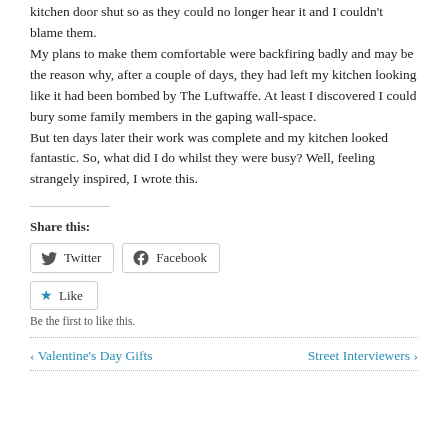kitchen door shut so as they could no longer hear it and I couldn't blame them.
My plans to make them comfortable were backfiring badly and may be the reason why, after a couple of days, they had left my kitchen looking like it had been bombed by The Luftwaffe. At least I discovered I could bury some family members in the gaping wall-space.
But ten days later their work was complete and my kitchen looked fantastic. So, what did I do whilst they were busy? Well, feeling strangely inspired, I wrote this.
Share this:
[Figure (other): Twitter and Facebook share buttons, and a Like button with star icon. Below: 'Be the first to like this.']
Be the first to like this.
‹ Valentine's Day Gifts   Street Interviewers ›